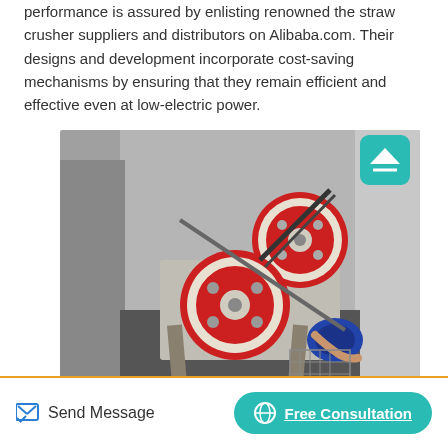performance is assured by enlisting renowned the straw crusher suppliers and distributors on Alibaba.com. Their designs and development incorporate cost-saving mechanisms by ensuring that they remain efficient and effective even at low-electric power.
[Figure (photo): A straw crusher machine photographed from above, showing two large red and white pulley wheels, a blue motor, and metal frame, installed in a concrete pit or enclosure. A person's hand is visible operating the machine.]
Send Message
Free Consultation